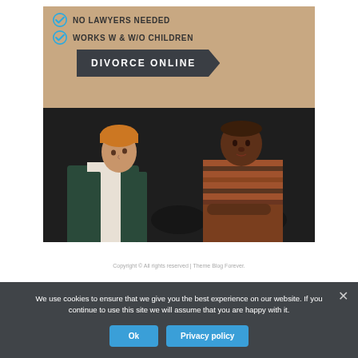[Figure (illustration): Promotional image for 'Divorce Online' service showing two checkmarks: 'NO LAWYERS NEEDED' and 'WORKS W & W/O CHILDREN', a dark arrow button labeled 'DIVORCE ONLINE', and a photo of a man with orange beanie and a woman in striped sweater sitting apart on a dark sofa against a beige background.]
Copyright © All rights reserved | Theme Blog Forever.
We use cookies to ensure that we give you the best experience on our website. If you continue to use this site we will assume that you are happy with it.